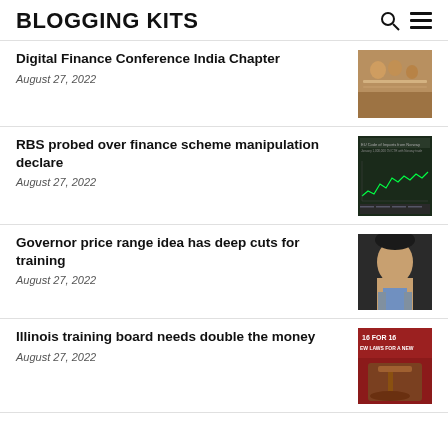BLOGGING KITS
Digital Finance Conference India Chapter
August 27, 2022
[Figure (photo): People at a conference table, meeting scene]
RBS probed over finance scheme manipulation declare
August 27, 2022
[Figure (screenshot): Chart or graph screenshot with data lines]
Governor price range idea has deep cuts for training
August 27, 2022
[Figure (photo): Photo of a man in suit looking upward]
Illinois training board needs double the money
August 27, 2022
[Figure (photo): Image with text '16 FOR 16 NEW LAWS FOR A NEW' and a gavel]